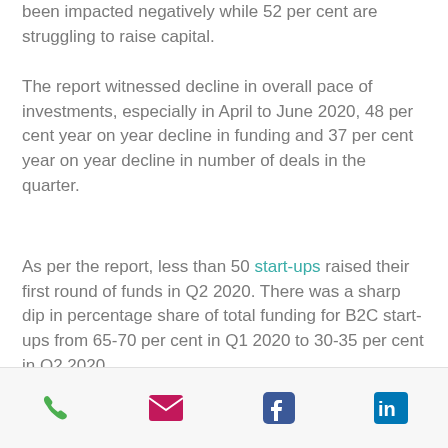been impacted negatively while 52 per cent are struggling to raise capital.
The report witnessed decline in overall pace of investments, especially in April to June 2020, 48 per cent year on year decline in funding and 37 per cent year on year decline in number of deals in the quarter.
As per the report, less than 50 start-ups raised their first round of funds in Q2 2020. There was a sharp dip in percentage share of total funding for B2C start-ups from 65-70 per cent in Q1 2020 to 30-35 per cent in Q2 2020.
Phone | Email | Facebook | LinkedIn